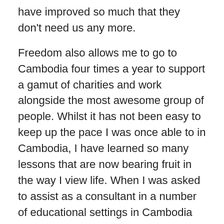have improved so much that they don't need us any more.

Freedom also allows me to go to Cambodia four times a year to support a gamut of charities and work alongside the most awesome group of people. Whilst it has not been easy to keep up the pace I was once able to in Cambodia, I have learned so many lessons that are now bearing fruit in the way I view life. When I was asked to assist as a consultant in a number of educational settings in Cambodia this year, the benefits of experience and the freedom to be able to travel there often proved that I am exactly where I am meant to be. Physical restrictions have also taught me the benefits of slowing down and taking care of